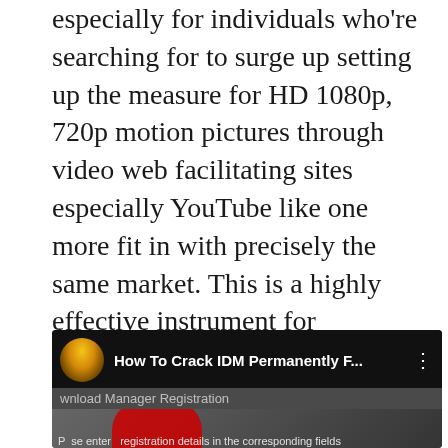especially for individuals who're searching for to surge up setting up the measure for HD 1080p, 720p motion pictures through video web facilitating sites especially YouTube like one more fit in with precisely the same market. This is a highly effective instrument for downloading your archives with the best download paces. So, IDM Download Free Full is a compelling framework that we can use to download records alongside up to five events pace.
[Figure (screenshot): YouTube video thumbnail/player showing 'How To Crack IDM Permanently F...' with a flower avatar icon, subtitle 'wnload Manager Registration', and a preview frame showing text 'Please enter registration details in the corresponding fields and push OK button']